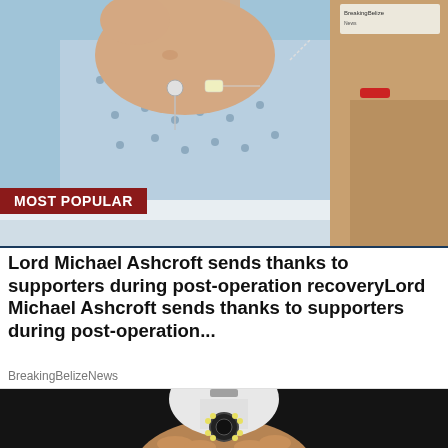[Figure (photo): Hospital scene showing a patient in a blue polka-dot hospital gown with medical leads/sensors attached to chest and an IV drip. A second person (visitor) is visible to the right wearing a red wristband. A medical chart/label is visible in the upper right corner.]
MOST POPULAR
Lord Michael Ashcroft sends thanks to supporters during post-operation recoveryLord Michael Ashcroft sends thanks to supporters during post-operation...
BreakingBelizeNews
[Figure (photo): A hand holding a white security camera disguised as a light bulb (spy cam/light bulb camera) with LED lights around the lens, against a dark background.]